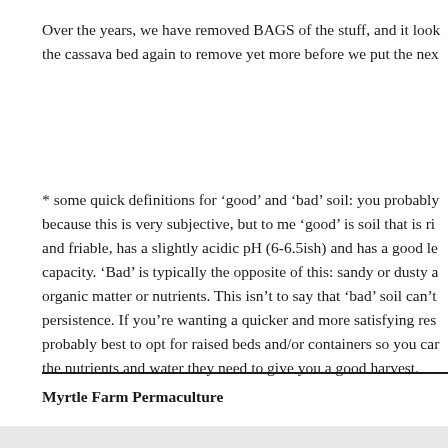Over the years, we have removed BAGS of the stuff, and it look the cassava bed again to remove yet more before we put the nex
* some quick definitions for ‘good’ and ‘bad’ soil: you probably because this is very subjective, but to me ‘good’ is soil that is ri and friable, has a slightly acidic pH (6-6.5ish) and has a good le capacity. ‘Bad’ is typically the opposite of this: sandy or dusty a organic matter or nutrients. This isn’t to say that ‘bad’ soil can’t persistence. If you’re wanting a quicker and more satisfying res probably best to opt for raised beds and/or containers so you car the nutrients and water they need to give you a good harvest.
Myrtle Farm Permaculture